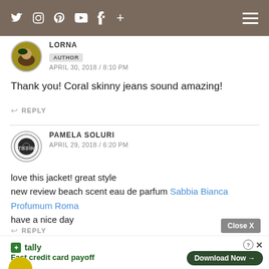Navigation bar with social icons: Twitter, Instagram, Pinterest, YouTube, Facebook, plus sign, and hamburger menu
LORNA
AUTHOR
APRIL 30, 2018 / 8:10 PM
Thank you! Coral skinny jeans sound amazing!
REPLY
PAMELA SOLURI
APRIL 29, 2018 / 6:20 PM
love this jacket! great style
new review beach scent eau de parfum Sabbia Bianca Profumum Roma
have a nice day
REPLY
[Figure (infographic): Advertisement banner: Tally app - Fast credit card payoff, with Download Now button and Close X button]